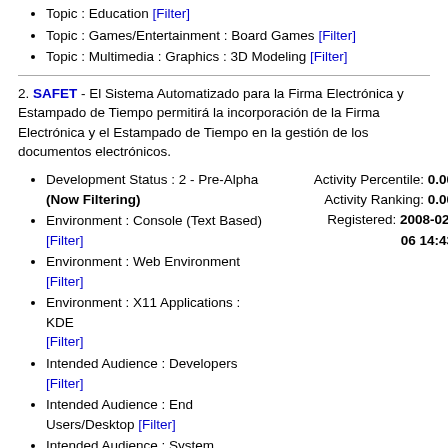Topic : Education [Filter]
Topic : Games/Entertainment : Board Games [Filter]
Topic : Multimedia : Graphics : 3D Modeling [Filter]
2. SAFET - El Sistema Automatizado para la Firma Electrónica y Estampado de Tiempo permitirá la incorporación de la Firma Electrónica y el Estampado de Tiempo en la gestión de los documentos electrónicos.
Development Status : 2 - Pre-Alpha (Now Filtering)   Activity Percentile: 0.00   Activity Ranking: 0.00
Environment : Console (Text Based) [Filter]   Registered: 2008-02-06 14:43
Environment : Web Environment [Filter]
Environment : X11 Applications : KDE [Filter]
Intended Audience : Developers [Filter]
Intended Audience : End Users/Desktop [Filter]
Intended Audience : System Administrators [Filter]
License : OSI Approved : GNU General Public License (GPL) [Filter]
Natural Language : Spanish [Filter]
Operating System : POSIX : Linux